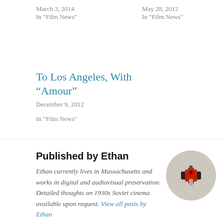March 3, 2014
In "Film News"
May 28, 2012
In "Film News"
To Los Angeles, With “Amour”
December 9, 2012
In "Film News"
Published by Ethan
Ethan currently lives in Massachusetts and works in digital and audiovisual preservation. Detailed thoughts on 1930s Soviet cinema available upon request. View all posts by Ethan
[Figure (photo): Circular avatar image showing a red and black audio/video RCA cable connector close-up on a gray background]